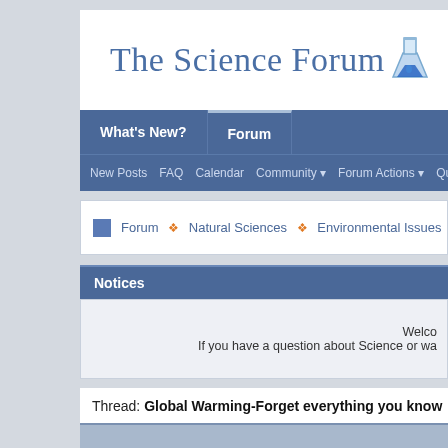The Science Forum
What's New? | Forum | New Posts | FAQ | Calendar | Community | Forum Actions | Quick Links
Forum ➤ Natural Sciences ➤ Environmental Issues ➤ Global
Notices
Welco... If you have a question about Science or wa...
Thread: Global Warming-Forget everything you know